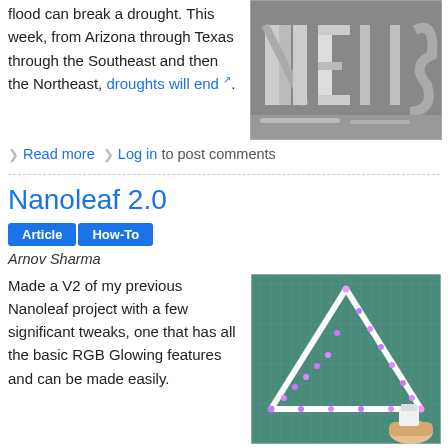flood can break a drought. This week, from Arizona through Texas through the Southeast and then the Northeast, droughts will end.
[Figure (photo): Black and white photo showing letters spelling NEWS made from various objects on a table]
Read more  Log in to post comments
Nanoleaf 2.0
Article  How-To
Arnov Sharma
Made a V2 of my previous Nanoleaf project with a few significant tweaks, one that has all the basic RGB Glowing features and can be made easily.
[Figure (photo): Photo of a glowing purple/pink LED triangle shape on a green cutting mat, held by a hand]